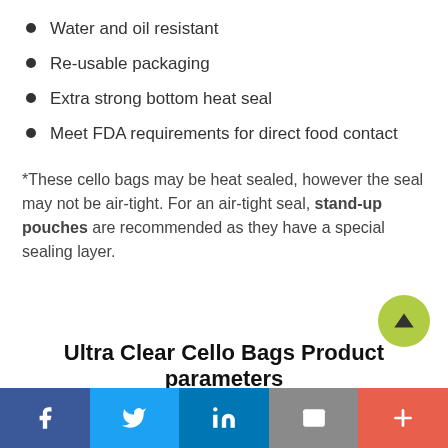Water and oil resistant
Re-usable packaging
Extra strong bottom heat seal
Meet FDA requirements for direct food contact
*These cello bags may be heat sealed, however the seal may not be air-tight. For an air-tight seal, stand-up pouches are recommended as they have a special sealing layer.
Ultra Clear Cello Bags Product parameters
Social share bar: Facebook, Twitter, LinkedIn, Email, More